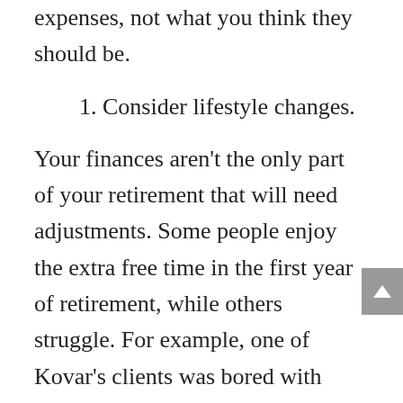expenses, not what you think they should be.
1. Consider lifestyle changes.
Your finances aren't the only part of your retirement that will need adjustments. Some people enjoy the extra free time in the first year of retirement, while others struggle. For example, one of Kovar's clients was bored with hobbies after the first year and began doing volunteer work. Another client, a retired